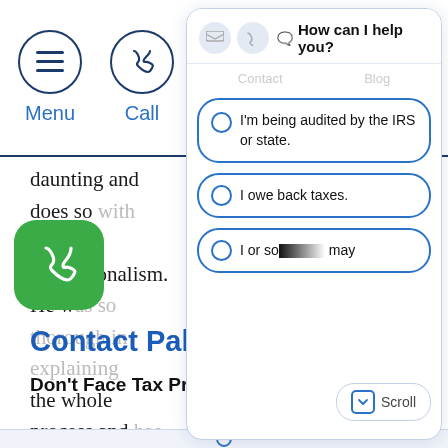Menu | Call | Contact | Blog
daunting and does so with ease and professionalism. He was so thorough in explaining the whole process and has helped me with various issues ranging from simple to more complex. He is genuine, reliable and extremely knowledgeable. I would recommend Brad to anyone looking for a trust worthy and knowledgeable tax attorney.
Contact Palad
Don't Face Tax Problems. Al...
[Figure (screenshot): Chat widget with 'How can I help you?' header and three radio button options: 'I'm being audited by the IRS or state.', 'I owe back taxes.', 'I or so... may']
[Figure (other): Green phone FAB button]